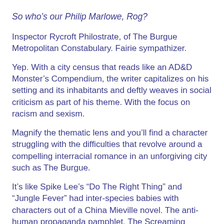So who's our Philip Marlowe, Rog?
Inspector Rycroft Philostrate, of The Burgue Metropolitan Constabulary. Fairie sympathizer.
Yep. With a city census that reads like an AD&D Monster's Compendium, the writer capitalizes on his setting and its inhabitants and deftly weaves in social criticism as part of his theme. With the focus on racism and sexism.
Magnify the thematic lens and you'll find a character struggling with the difficulties that revolve around a compelling interracial romance in an unforgiving city such as The Burgue.
It's like Spike Lee's “Do The Right Thing” and “Jungle Fever” had inter-species babies with characters out of a China Mieville novel. The anti-human propaganda pamphlet, The Screaming Banshee, details the crimes and wrong-doings of the human government in Oberon Square against the fey race.